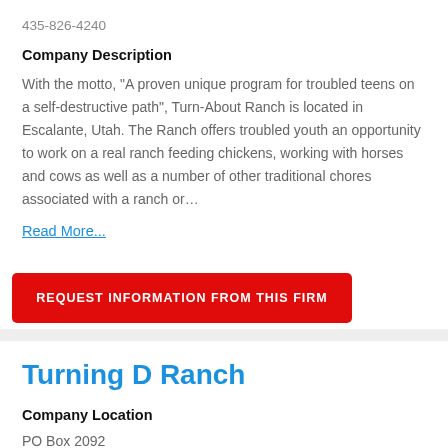435-826-4240
Company Description
With the motto, “A proven unique program for troubled teens on a self-destructive path”, Turn-About Ranch is located in Escalante, Utah. The Ranch offers troubled youth an opportunity to work on a real ranch feeding chickens, working with horses and cows as well as a number of other traditional chores associated with a ranch or…
Read More...
REQUEST INFORMATION FROM THIS FIRM
Turning D Ranch
Company Location
PO Box 2092